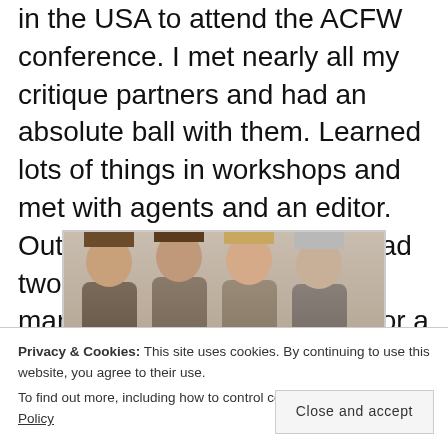in the USA to attend the ACFW conference. I met nearly all my critique partners and had an absolute ball with them. Learned lots of things in workshops and met with agents and an editor. Out of three appointments I had two requests for my full manuscript and one request for a proposal. Very humbling and exciting.
[Figure (photo): Group photo of four women standing together indoors, partial view showing their heads and upper bodies]
Privacy & Cookies: This site uses cookies. By continuing to use this website, you agree to their use. To find out more, including how to control cookies, see here: Cookie Policy